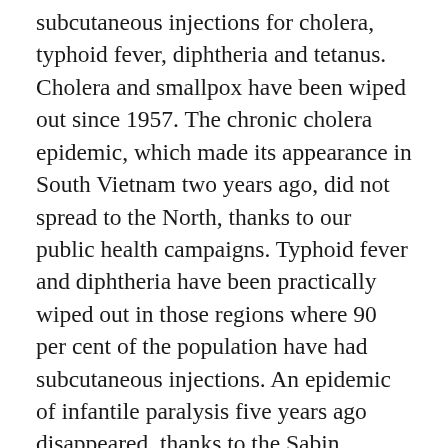subcutaneous injections for cholera, typhoid fever, diphtheria and tetanus. Cholera and smallpox have been wiped out since 1957. The chronic cholera epidemic, which made its appearance in South Vietnam two years ago, did not spread to the North, thanks to our public health campaigns. Typhoid fever and diphtheria have been practically wiped out in those regions where 90 per cent of the population have had subcutaneous injections. An epidemic of infantile paralysis five years ago disappeared, thanks to the Sabin vaccine which our institute of epidemiology continues to produce despite the wartime difficulties. (Later I was to